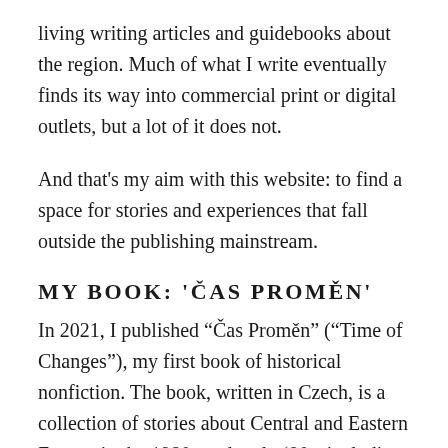living writing articles and guidebooks about the region. Much of what I write eventually finds its way into commercial print or digital outlets, but a lot of it does not.
And that's my aim with this website: to find a space for stories and experiences that fall outside the publishing mainstream.
MY BOOK: 'ČAS PROMĚN'
In 2021, I published “Čas Proměn” (“Time of Changes”), my first book of historical nonfiction. The book, written in Czech, is a collection of stories about Central and Eastern Europe in the 1980s and early ‘90s, including memories of the thrilling anti-communist revolutions